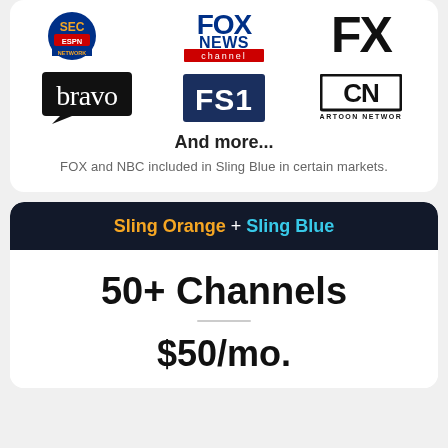[Figure (logo): SEC ESPN Network logo]
[Figure (logo): Fox News Channel logo]
[Figure (logo): FX logo]
[Figure (logo): Bravo logo]
[Figure (logo): FS1 logo]
[Figure (logo): Cartoon Network (CN) logo]
And more...
FOX and NBC included in Sling Blue in certain markets.
Sling Orange + Sling Blue
50+ Channels
$50/mo.